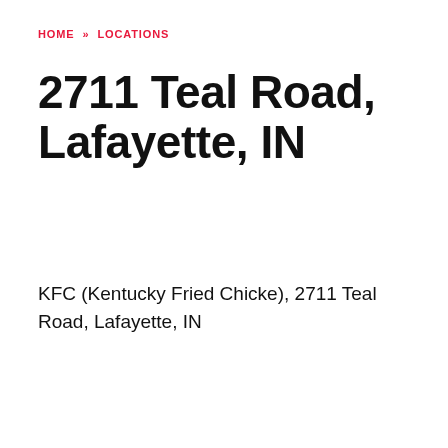HOME » LOCATIONS
2711 Teal Road, Lafayette, IN
KFC (Kentucky Fried Chicke), 2711 Teal Road, Lafayette, IN